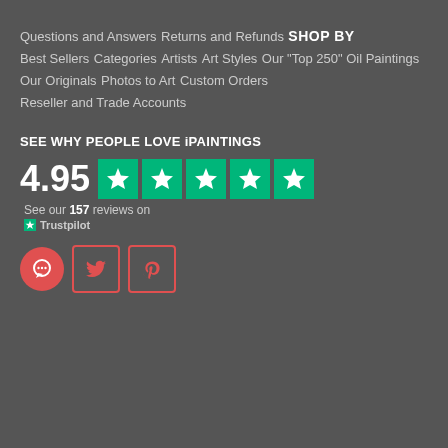Questions and Answers
Returns and Refunds
SHOP BY
Best Sellers
Categories
Artists
Art Styles
Our "Top 250" Oil Paintings
Our Originals
Photos to Art
Custom Orders
Reseller and Trade Accounts
SEE WHY PEOPLE LOVE iPAINTINGS
[Figure (infographic): Trustpilot rating showing 4.95 with 5 green star boxes and text 'See our 157 reviews on' with Trustpilot logo]
[Figure (infographic): Social media icons: chat bubble (red circle), Twitter bird (red outline box), Pinterest P (red outline box)]